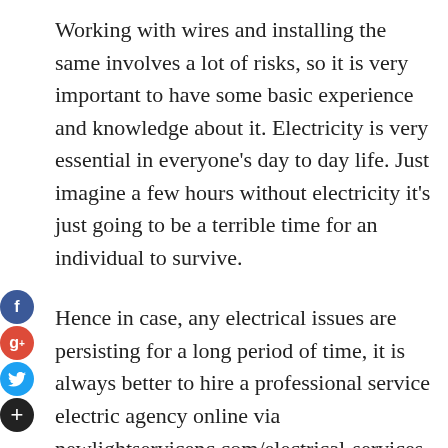Working with wires and installing the same involves a lot of risks, so it is very important to have some basic experience and knowledge about it. Electricity is very essential in everyone's day to day life. Just imagine a few hours without electricity it's just going to be a terrible time for an individual to survive.
Hence in case, any electrical issues are persisting for a long period of time, it is always better to hire a professional service electric agency online via newlightservicenc.com/electrical-services. So that they can fix the issue within a few hours and enable you to live your life normally.